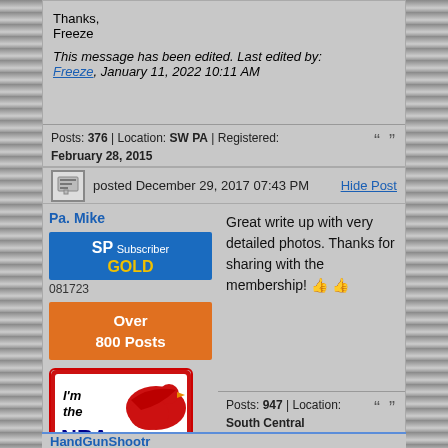Thanks,
Freeze
This message has been edited. Last edited by: Freeze, January 11, 2022 10:11 AM
Posts: 376 | Location: SW PA | Registered: February 28, 2015
Pa. Mike
posted December 29, 2017 07:43 PM
Hide Post
SP Subscriber GOLD
081723
Over 800 Posts
[Figure (logo): NRA logo - red eagle with text 'I'm the NRA' on white background with red border]
Great write up with very detailed photos. Thanks for sharing with the membership! 👍👍
Posts: 947 | Location: South Central Pennsylvania | Registered: February 07, 2016
HandGunShootr